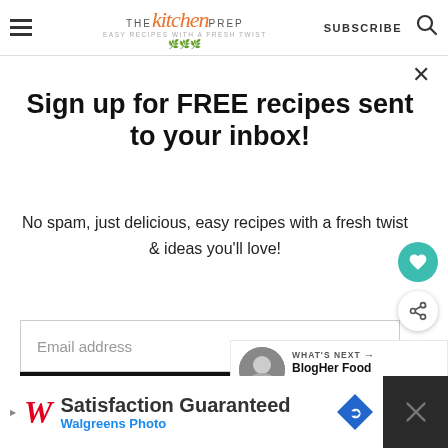[Figure (screenshot): The Kitchen Prep blog website header with hamburger menu, logo, Subscribe button, and search icon]
×
Sign up for FREE recipes sent to your inbox!
No spam, just delicious, easy recipes with a fresh twist & ideas you'll love!
Email address
Subscribe
WHAT'S NEXT → BlogHer Food 2014 | Part 2
[Figure (photo): Walgreens Photo advertisement banner - Satisfaction Guaranteed, Walgreens Photo]
Satisfaction Guaranteed Walgreens Photo